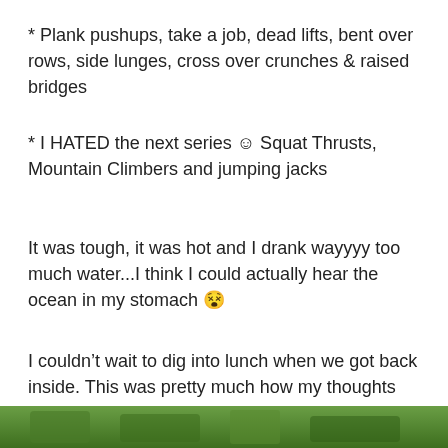* Plank pushups, take a job, dead lifts, bent over rows, side lunges, cross over crunches & raised bridges
* I HATED the next series 😊 Squat Thrusts, Mountain Climbers and jumping jacks
It was tough, it was hot and I drank wayyyy too much water...I think I could actually hear the ocean in my stomach 😵
I couldn't wait to dig into lunch when we got back inside. This was pretty much how my thoughts went……
Grab it!
[Figure (photo): Bottom strip of a photo showing green outdoor scenery]